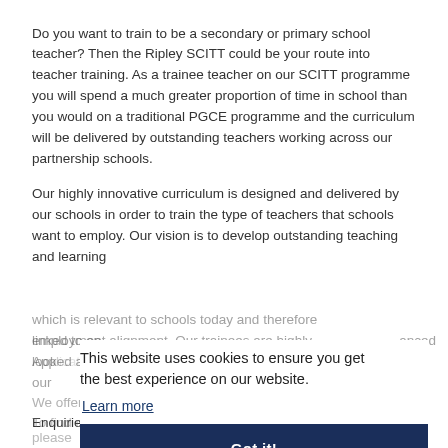Do you want to train to be a secondary or primary school teacher? Then the Ripley SCITT could be your route into teacher training. As a trainee teacher on our SCITT programme you will spend a much greater proportion of time in school than you would on a traditional PGCE programme and the curriculum will be delivered by outstanding teachers working across our partnership schools.
Our highly innovative curriculum is designed and delivered by our schools in order to train the type of teachers that schools want to employ. Our vision is to develop outstanding teaching and learning which is relevant to schools today and therefore linked to enhanced employment alignment. Our trainees are highly looked and to apply and our...
This website uses cookies to ensure you get the best experience on our website.
Learn more
Got it!
We offer courses in a range of secondary subjects and primary.
To find more details about the programme and how to apply, please visit our ITT website.
Enquiries: ITT@ripley.lancs.sch.uk